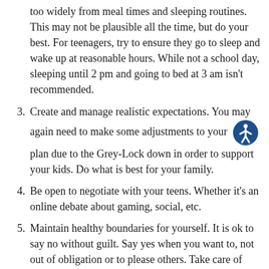too widely from meal times and sleeping routines. This may not be plausible all the time, but do your best. For teenagers, try to ensure they go to sleep and wake up at reasonable hours. While not a school day, sleeping until 2 pm and going to bed at 3 am isn't recommended.
3. Create and manage realistic expectations. You may again need to make some adjustments to your plan due to the Grey-Lock down in order to support your kids. Do what is best for your family.
4. Be open to negotiate with your teens. Whether it's an online debate about gaming, social, etc.
5. Maintain healthy boundaries for yourself. It is ok to say no without guilt. Say yes when you want to, not out of obligation or to please others. Take care of your own physical, emotional and spiritual